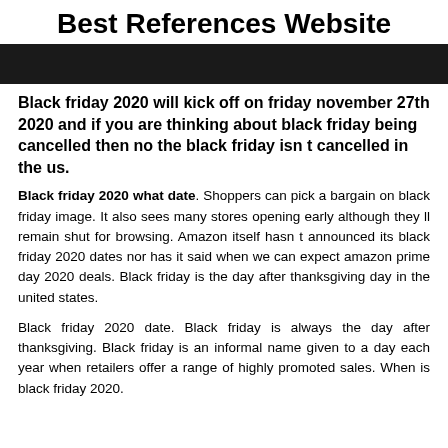Best References Website
[Figure (photo): Dark banner image, likely a Black Friday promotional image]
Black friday 2020 will kick off on friday november 27th 2020 and if you are thinking about black friday being cancelled then no the black friday isn t cancelled in the us.
Black friday 2020 what date. Shoppers can pick a bargain on black friday image. It also sees many stores opening early although they ll remain shut for browsing. Amazon itself hasn t announced its black friday 2020 dates nor has it said when we can expect amazon prime day 2020 deals. Black friday is the day after thanksgiving day in the united states.
Black friday 2020 date. Black friday is always the day after thanksgiving. Black friday is an informal name given to a day each year when retailers offer a range of highly promoted sales. When is black friday 2020.